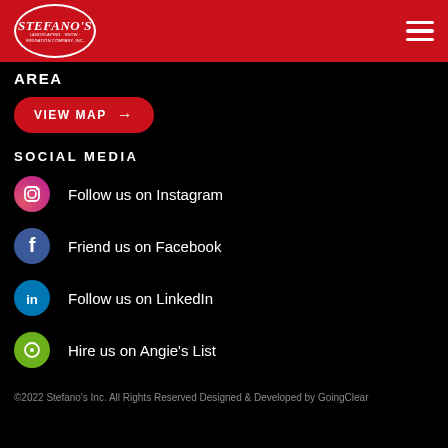[Figure (logo): Stefano's company logo in oval with white border on red background]
AREA
VIEW MAP →
SOCIAL MEDIA
Follow us on Instagram
Friend us on Facebook
Follow us on LinkedIn
Hire us on Angie's List
©2022 Stefano's Inc. All Rights Reserved Designed & Developed by GoingClear